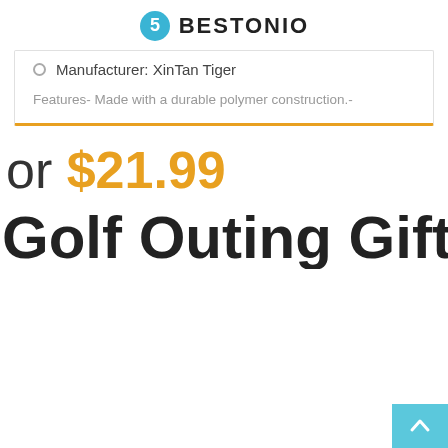BESTONIO
Manufacturer: XinTan Tiger
Features- Made with a durable polymer construction.-
or $21.99
Golf Outing Gift Ci